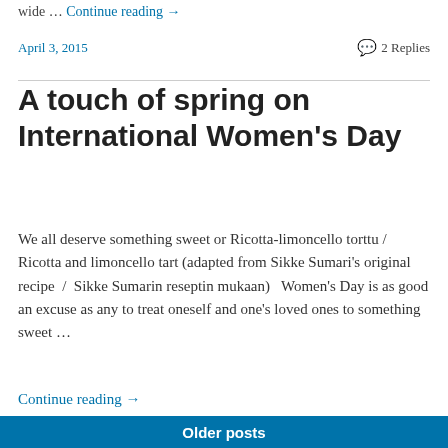wide … Continue reading →
April 3, 2015   💬 2 Replies
A touch of spring on International Women's Day
We all deserve something sweet or Ricotta-limoncello torttu / Ricotta and limoncello tart (adapted from Sikke Sumari's original recipe  /  Sikke Sumarin reseptin mukaan)   Women's Day is as good an excuse as any to treat oneself and one's loved ones to something sweet …
Continue reading →
March 8, 2015   💬 Leave a Reply
Older posts